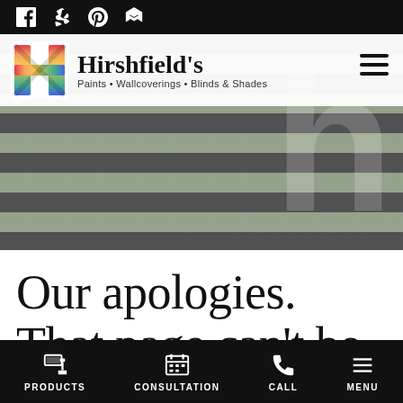Social media icons bar (Facebook, Yelp, Pinterest, Houzz)
[Figure (screenshot): Hirshfield's website header with rainbow H logo and tagline 'Paints • Wallcoverings • Blinds & Shades', navigation hamburger menu, and hero banner with horizontal slat background and large H watermark]
Our apologies. That page can't be found.
PRODUCTS | CONSULTATION | CALL | MENU